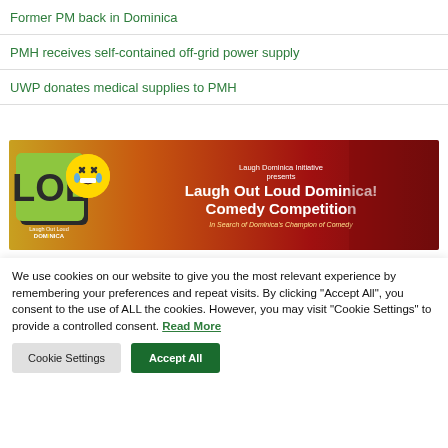Former PM back in Dominica
PMH receives self-contained off-grid power supply
UWP donates medical supplies to PMH
[Figure (illustration): Laugh Out Loud Dominica Comedy Competition banner with LOL logo on left, red/orange gradient background, text: Laugh Dominica Initiative presents Laugh Out Loud Dominica! Comedy Competition, In Search of Dominica's Champion of Comedy]
We use cookies on our website to give you the most relevant experience by remembering your preferences and repeat visits. By clicking "Accept All", you consent to the use of ALL the cookies. However, you may visit "Cookie Settings" to provide a controlled consent. Read More
Cookie Settings  Accept All